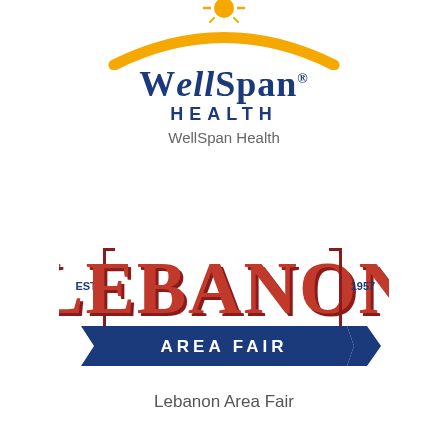[Figure (logo): WellSpan Health logo with orange arc and sun, blue serif WellSpan text, blue sans HEALTH text, and gray WellSpan Health subtext]
[Figure (logo): Lebanon Area Fair logo with large red block letters LEBANON, EST. and 1957 flanking, blue ribbon banner with AREA FAIR text, and gray Lebanon Area Fair subtext below]